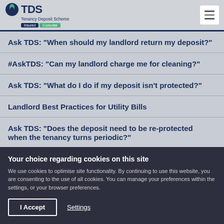TDS Tenancy Deposit Scheme Insured Custodial
Ask TDS: "When should my landlord return my deposit?"
#AskTDS: "Can my landlord charge me for cleaning?"
Ask TDS: "What do I do if my deposit isn't protected?"
Landlord Best Practices for Utility Bills
Ask TDS: "Does the deposit need to be re-protected when the tenancy turns periodic?"
Your choice regarding cookies on this site
We use cookies to optimise site functionality. By continuing to use this website, you are consenting to the use of all cookies. You can manage your preferences within the settings, or your browser preferences.